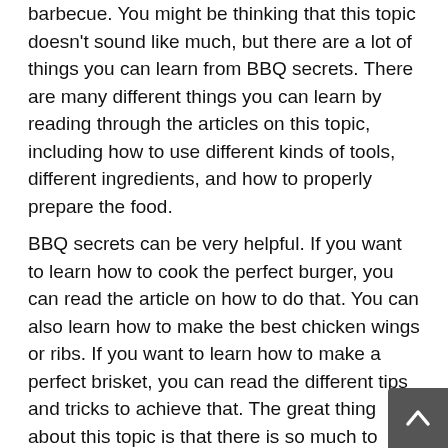barbecue. You might be thinking that this topic doesn't sound like much, but there are a lot of things you can learn from BBQ secrets. There are many different things you can learn by reading through the articles on this topic, including how to use different kinds of tools, different ingredients, and how to properly prepare the food.
BBQ secrets can be very helpful. If you want to learn how to cook the perfect burger, you can read the article on how to do that. You can also learn how to make the best chicken wings or ribs. If you want to learn how to make a perfect brisket, you can read the different tips and tricks to achieve that. The great thing about this topic is that there is so much to learn and so many